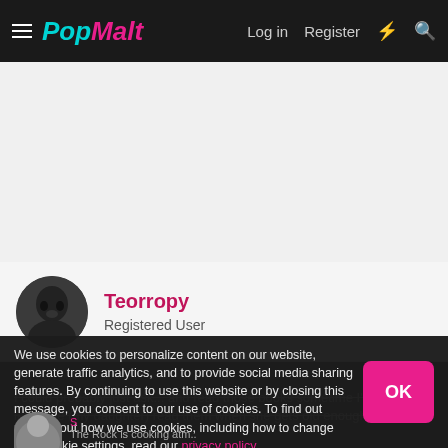PopMalt — Log in  Register
[Figure (photo): User avatar for Teorropy — dark photo of a person]
Teorropy
Registered User
Jun 11, 2004   #2
I could probably just ask... and read those books sometime I'm going to let Kaele (my daughter) read them when she gets old enough.
We use cookies to personalize content on our website, generate traffic analytics, and to provide social media sharing features. By continuing to use this website or by closing this message, you consent to our use of cookies. To find out more about how we use cookies, including how to change your cookie settings, read our privacy policy.
S
The Rock is cooking atm..